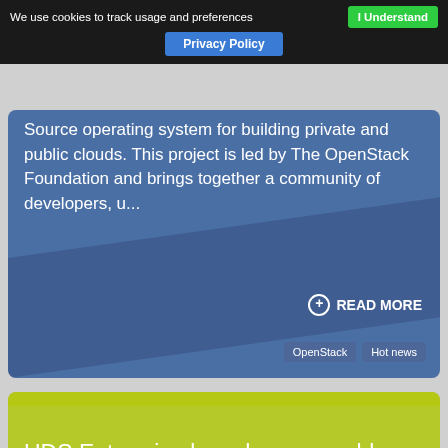We use cookies to track usage and preferences   I Understand   Privacy Policy
Source operating system for building private and public clouds. This project is led by The OpenStack Foundation and brings together a community of developers, u...
READ MORE
OpenStack   Hot news
UDS Enterprise launches a new blog